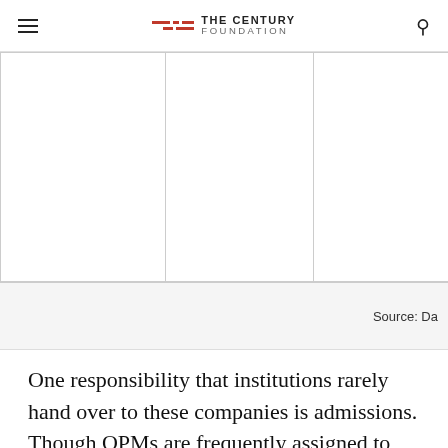THE CENTURY FOUNDATION
|   |   |   |
Source: Da
One responsibility that institutions rarely hand over to these companies is admissions. Though OPMs are frequently assigned to help prospective students complete applications and increase the lead-to-enrollment conversion, the actual decision whether or not to enroll a student generally remains with the school itself. Exceptions are uniformly for programs in